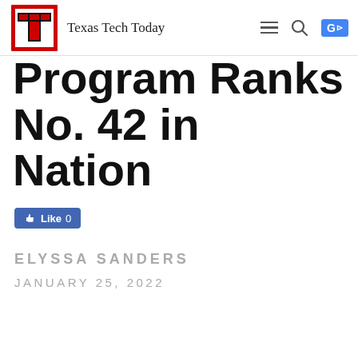Texas Tech Today
Program Ranks No. 42 in Nation
[Figure (other): Facebook Like button showing 0 likes]
ELYSSA SANDERS
JANUARY 25, 2022